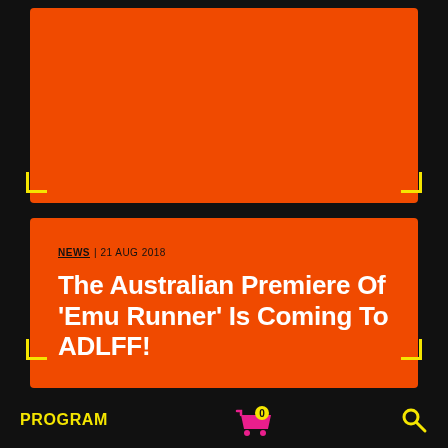[Figure (illustration): Orange rectangle card with yellow corner bracket marks at bottom corners, top section of the page]
NEWS | 21 AUG 2018
The Australian Premiere Of 'Emu Runner' Is Coming To ADLFF!
PROGRAM